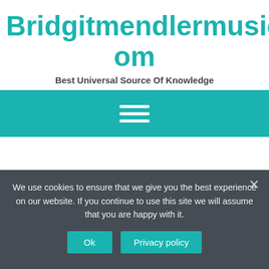Bridgitmendlermusic.Com
Best Universal Source Of Knowledge
[Figure (other): Teal navigation bar with hamburger menu icon (three white horizontal lines)]
We use cookies to ensure that we give you the best experience on our website. If you continue to use this site we will assume that you are happy with it.
Ok
Privacy policy
Who is Shahrzad belly dan…
Who is Shahrzad belly…